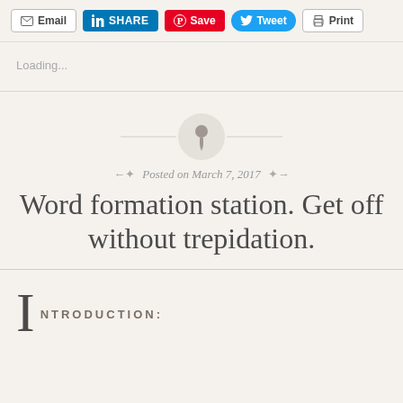[Figure (screenshot): Social sharing buttons: Email, LinkedIn SHARE, Pinterest Save, Twitter Tweet, Print]
Loading...
[Figure (illustration): Pinterest pushpin icon inside a light gray circle with decorative horizontal lines on each side]
Posted on March 7, 2017
Word formation station. Get off without trepidation.
INTRODUCTION: